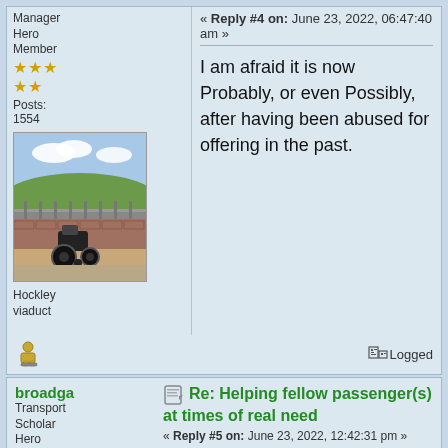Manager Hero Member
Posts: 1554
[Figure (photo): Avatar photo showing a wheelchair on a viaduct bridge with countryside view]
Hockley viaduct
« Reply #4 on: June 23, 2022, 06:47:40 am »
I am afraid it is now Probably, or even Possibly, after having been abused for offering in the past.
Logged
broadga
Transport Scholar Hero Member
Re: Helping fellow passenger(s) at times of real need
« Reply #5 on: June 23, 2022, 12:42:31 pm »
I voted "probably, after careful thought"